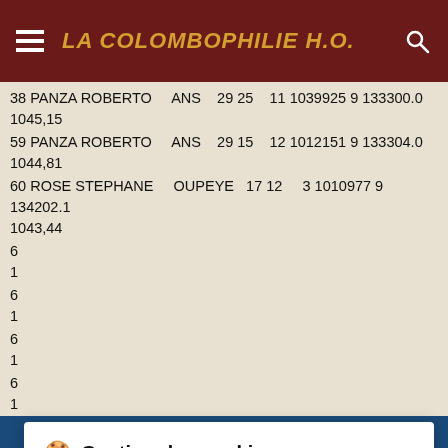LA COLOMBOPHILIE H.O.
38 PANZA ROBERTO   ANS   29 25   11 1039925 9 133300.0   1045,15
59 PANZA ROBERTO   ANS   29 15   12 1012151 9 133304.0   1044,81
60 ROSE STEPHANE   OUPEYE   17 12   3 1010977 9 134202.1   1043,44
6...
Gestion des cookies
www.lacolombophilieho.be dépose des cookies pour améliorer votre expérience de navigation, mesurer l'audience du site internet, afficher des publicités personnalisées, réaliser des campagnes ciblées et personnaliser l'interface du site.
Consulter la politique de confidentialité
REFUSER  PARAMÉTRER  ACCEPTER